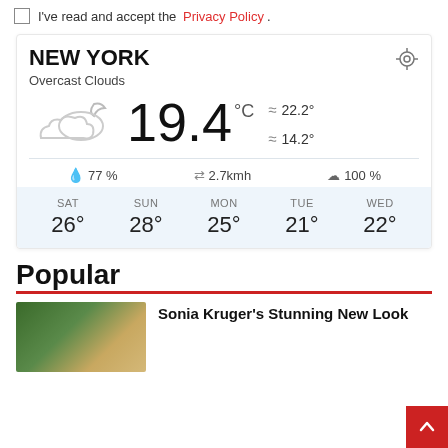I've read and accept the Privacy Policy.
NEW YORK
Overcast Clouds
[Figure (illustration): Overcast cloud with moon weather icon]
19.4 °C  ▲ 22.2°  ≈ 14.2°
💧 77 %   ⇄ 2.7kmh   ☁ 100 %
| SAT | SUN | MON | TUE | WED |
| --- | --- | --- | --- | --- |
| 26° | 28° | 25° | 21° | 22° |
Popular
Sonia Kruger's Stunning New Look